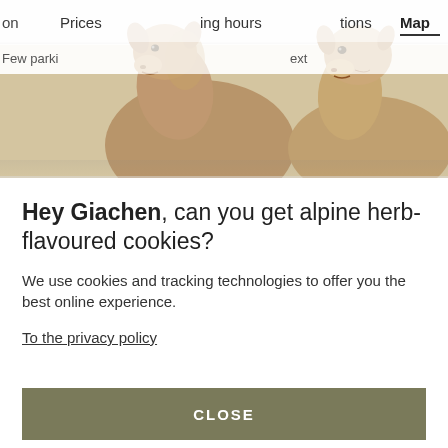[Figure (photo): Two goats (chamois/alpine goats) looking at camera, with a website navigation bar partially visible behind them showing 'Prices', 'ing hours', 'tions', 'Map' tabs, and a sub-navigation showing 'Few parki...' and '...ext']
Hey Giachen, can you get alpine herb-flavoured cookies?
We use cookies and tracking technologies to offer you the best online experience.
To the privacy policy
CLOSE